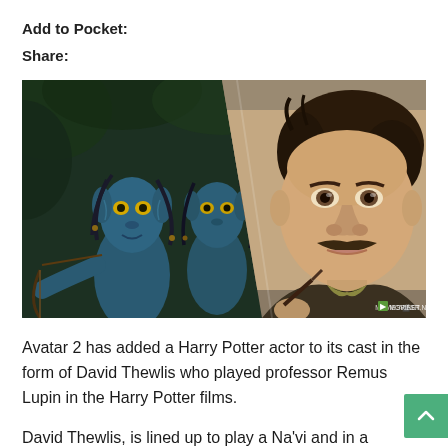Add to Pocket:
Share:
[Figure (photo): Composite image: left side shows two blue Na'vi characters from Avatar in a jungle setting; right side shows actor David Thewlis (who played Professor Remus Lupin in Harry Potter) in costume with a wand, with a watermark reading 'MOVIESR.NET' in the bottom right corner.]
Avatar 2 has added a Harry Potter actor to its cast in the form of David Thewlis who played professor Remus Lupin in the Harry Potter films.
David Thewlis, is lined up to play a Na'vi and in a